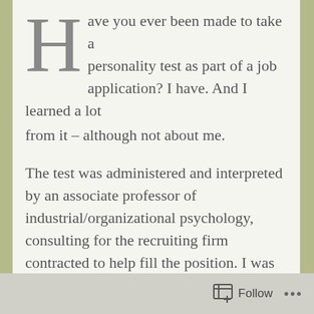Have you ever been made to take a personality test as part of a job application? I have. And I learned a lot from it – although not about me.
The test was administered and interpreted by an associate professor of industrial/organizational psychology, consulting for the recruiting firm contracted to help fill the position. I was not surprised by my test results – introvert, detail-oriented, compromise-seeking – but I found the professor's interpretive report a little on the negative side.
I got the job. I was offered the opportunity to
Follow ...